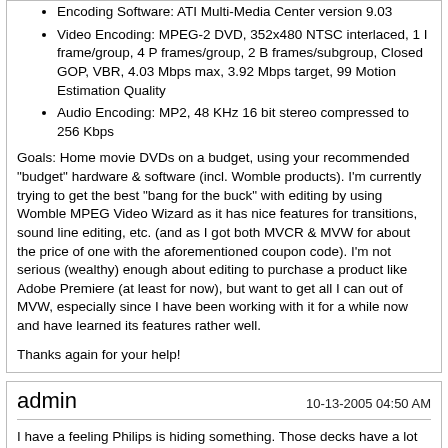Encoding Software: ATI Multi-Media Center version 9.03
Video Encoding: MPEG-2 DVD, 352x480 NTSC interlaced, 1 I frame/group, 4 P frames/group, 2 B frames/subgroup, Closed GOP, VBR, 4.03 Mbps max, 3.92 Mbps target, 99 Motion Estimation Quality
Audio Encoding: MP2, 48 KHz 16 bit stereo compressed to 256 Kbps
Goals: Home movie DVDs on a budget, using your recommended "budget" hardware & software (incl. Womble products). I'm currently trying to get the best "bang for the buck" with editing by using Womble MPEG Video Wizard as it has nice features for transitions, sound line editing, etc. (and as I got both MVCR & MVW for about the price of one with the aforementioned coupon code). I'm not serious (wealthy) enough about editing to purchase a product like Adobe Premiere (at least for now), but want to get all I can out of MVW, especially since I have been working with it for a while now and have learned its features rather well.
Thanks again for your help!
admin
10-13-2005 04:50 AM
I have a feeling Philips is hiding something. Those decks have a lot of known flaws. They are not popular for quality, but solely because they were one of the first players that could not only be hacked easily, but also play back MPEG-4 (XVID and DIVX) files.